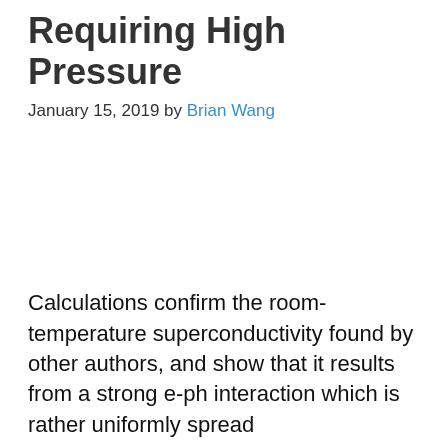Requiring High Pressure
January 15, 2019 by Brian Wang
Calculations confirm the room-temperature superconductivity found by other authors, and show that it results from a strong e-ph interaction which is rather uniformly spread